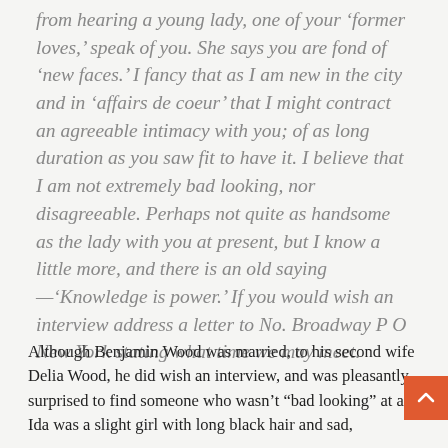from hearing a young lady, one of your 'former loves,' speak of you. She says you are fond of 'new faces.' I fancy that as I am new in the city and in 'affairs de coeur' that I might contract an agreeable intimacy with you; of as long duration as you saw fit to have it. I believe that I am not extremely bad looking, nor disagreeable. Perhaps not quite as handsome as the lady with you at present, but I know a little more, and there is an old saying—'Knowledge is power.' If you would wish an interview address a letter to No. Broadway P O New York stating what time we may meet.
Although Benjamin Wood was married, to his second wife Delia Wood, he did wish an interview, and was pleasantly surprised to find someone who wasn't "bad looking" at all: Ida was a slight girl with long black hair and sad,